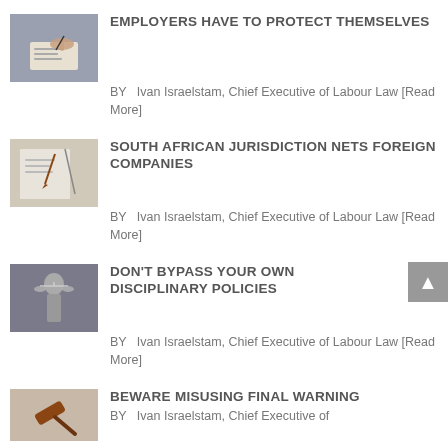EMPLOYERS HAVE TO PROTECT THEMSELVES
BY  Ivan Israelstam, Chief Executive of Labour Law [Read More]
SOUTH AFRICAN JURISDICTION NETS FOREIGN COMPANIES
BY  Ivan Israelstam, Chief Executive of Labour Law [Read More]
DON'T BYPASS YOUR OWN DISCIPLINARY POLICIES
BY  Ivan Israelstam, Chief Executive of Labour Law [Read More]
BEWARE MISUSING FINAL WARNING
BY  Ivan Israelstam, Chief Executive of